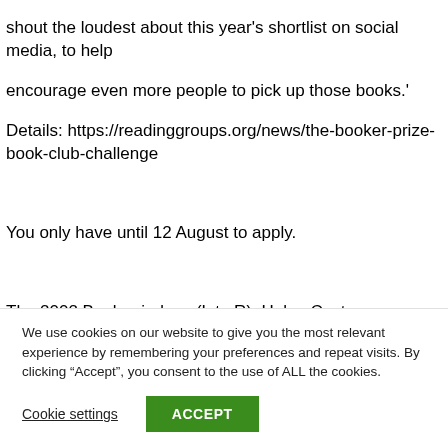shout the loudest about this year's shortlist on social media, to help encourage even more people to pick up those books.' Details: https://readinggroups.org/news/the-booker-prize-book-club-challenge
You only have until 12 August to apply.
The 2002 Booker judges (L to R): Helen Castor, broadcaster, author and historian; Alain Mabanckou, author; Neil MacGregor (chair),
We use cookies on our website to give you the most relevant experience by remembering your preferences and repeat visits. By clicking “Accept”, you consent to the use of ALL the cookies.